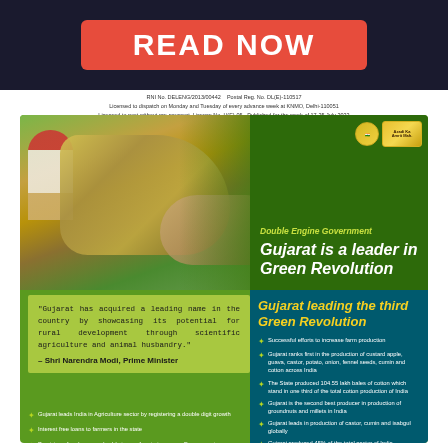[Figure (illustration): Red button/banner saying READ NOW on dark navy background]
RNI No. DELENG/2013/00442   Postal Reg. No. DL(E)-110517
Licensed to dispatch on Monday and Tuesday of every advance week at KNMO, Delhi-110051
Licensed to post without pre-payment, Licence No. U(E)-05  Published for the week of 17-25 July 2022
[Figure (photo): Farmer in red cap harvesting crops with cow in background, Gujarat agriculture scene]
Double Engine Government
Gujarat is a leader in Green Revolution
"Gujarat has acquired a leading name in the country by showcasing its potential for rural development through scientific agriculture and animal husbandry."
– Shri Narendra Modi, Prime Minister
Gujarat leading the third Green Revolution
Successful efforts to increase farm production
Gujarat ranks first in the production of custard apple, guava, castor, potato, onion, fennel seeds, cumin and cotton across India
The State produced 104.55 lakh bales of cotton which stand in one third of the total cotton production of India
Gujarat is the second best producer in production of groundnuts and millets in India
Gujarat leads in production of castor, cumin and isabgul globally
Gujarat produced 45% of the total castor of India
The state is at the forefront in global potato production with 87 metric tons per hectare
Gujarat leads India in Agriculture sector by registering a double digit growth
Interest free loans to farmers in the state
Provision of godowns and cold storage for storing crops. Farmers got adequate price for their crops.
Soil Health Cards issued to more than 45 lakh farmers
Insurance to farmers in case of...
Gujarat's annual budget for farmers in 1994-95 was ₹398-34 crores. In 2022-23, it increased by 19 times to ₹7737 crores.